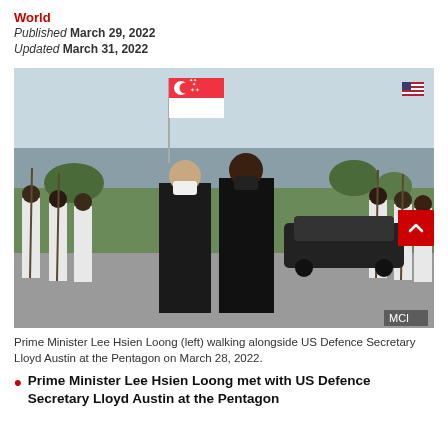World
Published March 29, 2022
Updated March 31, 2022
[Figure (photo): Prime Minister Lee Hsien Loong (left) walking alongside US Defence Secretary Lloyd Austin at the Pentagon on March 28, 2022. Both men are wearing masks and dark suits. Military honor guard visible on either side. Singapore flag visible in background. MCI photo credit.]
Prime Minister Lee Hsien Loong (left) walking alongside US Defence Secretary Lloyd Austin at the Pentagon on March 28, 2022.
Prime Minister Lee Hsien Loong met with US Defence Secretary Lloyd Austin at the Pentagon.